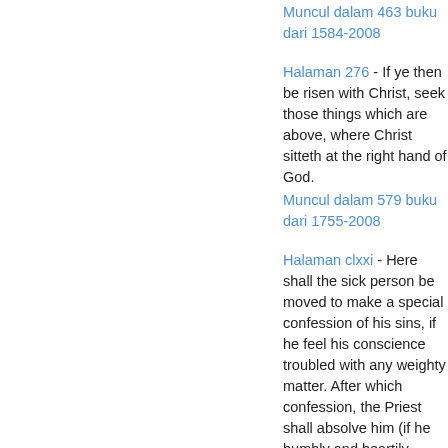Muncul dalam 463 buku dari 1584-2008
Halaman 276 - If ye then be risen with Christ, seek those things which are above, where Christ sitteth at the right hand of God.
Muncul dalam 579 buku dari 1755-2008
Halaman clxxi - Here shall the sick person be moved to make a special confession of his sins, if he feel his conscience troubled with any weighty matter. After which confession, the Priest shall absolve him (if he humbly and heartily desire it) after this sort